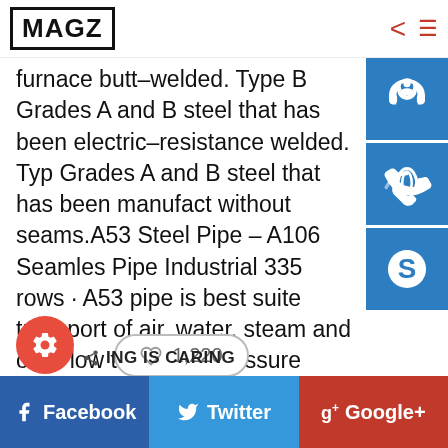MAGZ
furnace butt-welded. Type B Grades A and B steel that has been electric-resistance welded. Type Grades A and B steel that has been manufactured without seams. A53 Steel Pipe – A106 Seamless Pipe Industrial 335 rows · A53 pipe is best suited transport of air, water, steam and oil in low to medium pressure
♡ 1,220
SHARING IS CARING
Facebook
Twitter
Google+